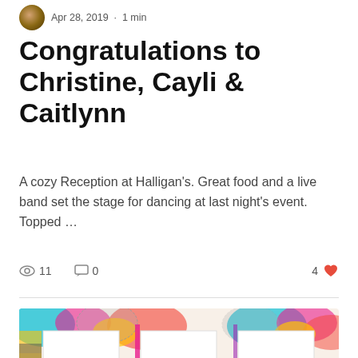Apr 28, 2019 · 1 min
Congratulations to Christine, Cayli & Caitlynn
A cozy Reception at Halligan's. Great food and a live band set the stage for dancing at last night's event. Topped …
11 views  0 comments  4 likes
[Figure (photo): Colorful photo collage strip with abstract/floral pattern border and three white photo frames visible at bottom]